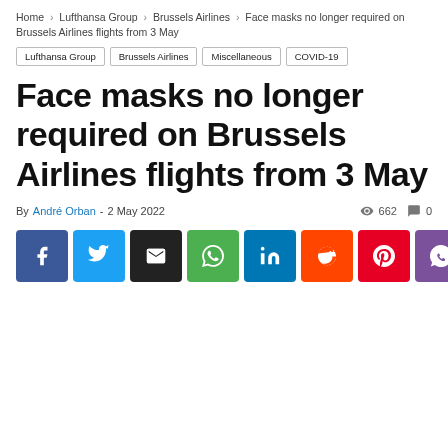Home › Lufthansa Group › Brussels Airlines › Face masks no longer required on Brussels Airlines flights from 3 May
Lufthansa Group
Brussels Airlines
Miscellaneous
COVID-19
Face masks no longer required on Brussels Airlines flights from 3 May
By André Orban - 2 May 2022   662  0
[Figure (other): Row of 8 social media share buttons: Facebook (blue), Twitter (light blue), Email (black), WhatsApp (green), LinkedIn (blue), Reddit (orange), Pinterest (red), Viber (purple)]